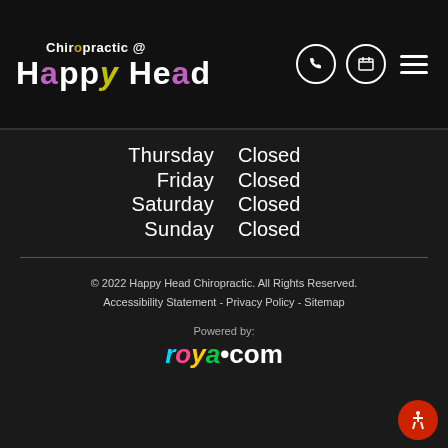Chiropractic @ Happy Head
| Day | Status |
| --- | --- |
| Thursday | Closed |
| Friday | Closed |
| Saturday | Closed |
| Sunday | Closed |
© 2022 Happy Head Chiropractic. All Rights Reserved. Accessibility Statement - Privacy Policy - Sitemap
Powered by: roya.com